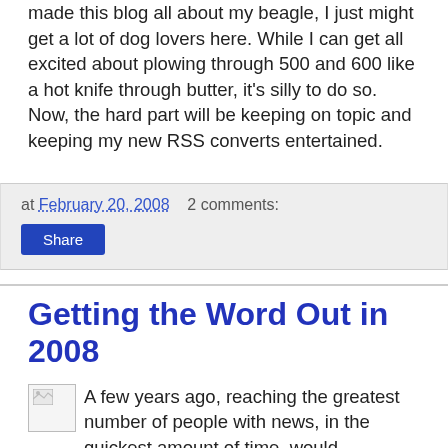made this blog all about my beagle, I just might get a lot of dog lovers here. While I can get all excited about plowing through 500 and 600 like a hot knife through butter, it's silly to do so. Now, the hard part will be keeping on topic and keeping my new RSS converts entertained.
at February 20, 2008   2 comments:
Share
Getting the Word Out in 2008
A few years ago, reaching the greatest number of people with news, in the quickest amount of time, would seemingly be an easy task. Get a list of people to call, prioritize, and then start dialing, starting with the most important, and eventually, reaching the last person on the list, before going back to the top of the list and calling those who didn't pick up. And if you didn't want to talk to the person face to face, you could type out a letter and send it out.